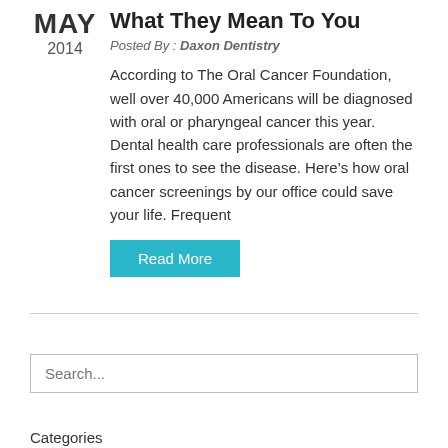What They Mean To You
Posted By : Daxon Dentistry
According to The Oral Cancer Foundation, well over 40,000 Americans will be diagnosed with oral or pharyngeal cancer this year.  Dental health care professionals are often the first ones to see the disease. Here’s how oral cancer screenings by our office could save your life. Frequent
Read More
Search...
Categories